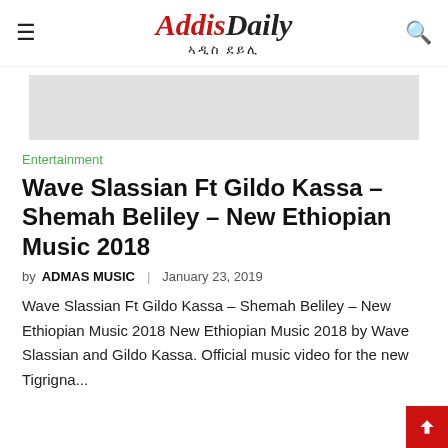≡  Addis Daily ኣዲስ ደይሊ  🔍
[Figure (other): Gray advertisement banner placeholder]
Entertainment
Wave Slassian Ft Gildo Kassa – Shemah Beliley – New Ethiopian Music 2018
by ADMAS MUSIC  |  January 23, 2019
Wave Slassian Ft Gildo Kassa – Shemah Beliley – New Ethiopian Music 2018 New Ethiopian Music 2018 by Wave Slassian and Gildo Kassa. Official music video for the new Tigrigna...